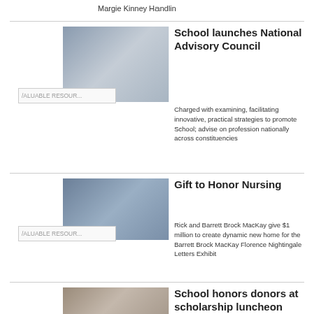Margie Kinney Handlin
[Figure (photo): Group photo of people standing together, likely school administrators or council members]
/ALUABLE RESOUR...
School launches National Advisory Council
Charged with examining, facilitating innovative, practical strategies to promote School; advise on profession nationally across constituencies
[Figure (photo): Three people posing together outdoors in front of a building]
/ALUABLE RESOUR...
Gift to Honor Nursing
Rick and Barrett Brock MacKay give $1 million to create dynamic new home for the Barrett Brock MacKay Florence Nightingale Letters Exhibit
[Figure (photo): Group of people at a formal event, scholarship luncheon]
School honors donors at scholarship luncheon